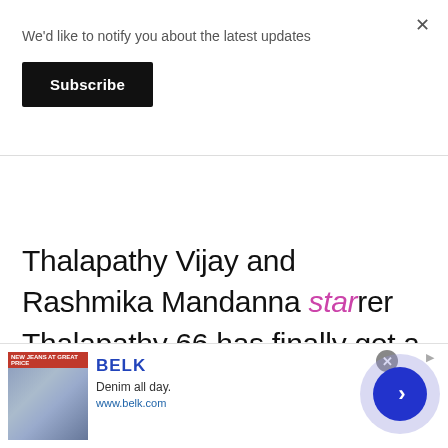We'd like to notify you about the latest updates
Subscribe
Thalapathy Vijay and Rashmika Mandanna starrer Thalapathy 66 has finally got a title. It is titled as Varisu.
[Figure (screenshot): Advertisement banner for BELK featuring denim clothing. Shows brand name BELK in blue, tagline 'Denim all day.' and website www.belk.com, with clothing images on left and a navigation arrow button on right.]